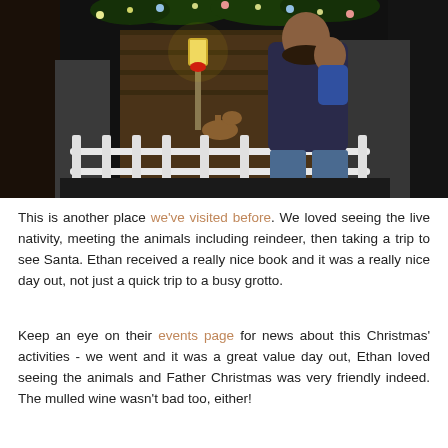[Figure (photo): A man holding a child standing in front of a white picket fence at a Christmas nativity/grotto event, with decorative reindeer, fairy lights, and greenery in the background.]
This is another place we've visited before. We loved seeing the live nativity, meeting the animals including reindeer, then taking a trip to see Santa. Ethan received a really nice book and it was a really nice day out, not just a quick trip to a busy grotto.
Keep an eye on their events page for news about this Christmas' activities - we went and it was a great value day out, Ethan loved seeing the animals and Father Christmas was very friendly indeed. The mulled wine wasn't bad too, either!